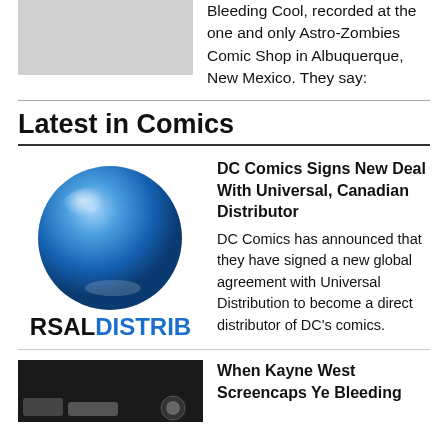Bleeding Cool, recorded at the one and only Astro-Zombies Comic Shop in Albuquerque, New Mexico. They say:
Latest in Comics
[Figure (illustration): Blue glossy sphere above RSALDISTRIB text logo, partially cropped on left side]
DC Comics Signs New Deal With Universal, Canadian Distributor
DC Comics has announced that they have signed a new global agreement with Universal Distribution to become a direct distributor of DC's comics.
[Figure (photo): Partially visible dark screencap image at bottom left, cropped]
When Kayne West Screencaps Ye Bleeding